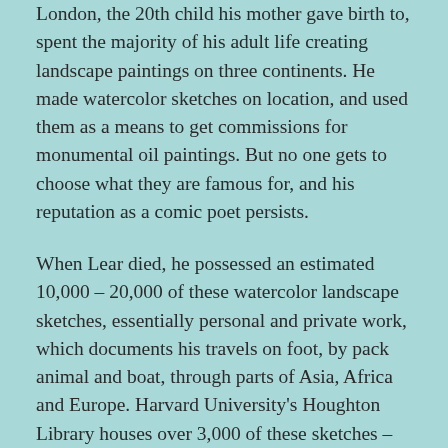London, the 20th child his mother gave birth to, spent the majority of his adult life creating landscape paintings on three continents. He made watercolor sketches on location, and used them as a means to get commissions for monumental oil paintings. But no one gets to choose what they are famous for, and his reputation as a comic poet persists.
When Lear died, he possessed an estimated 10,000 – 20,000 of these watercolor landscape sketches, essentially personal and private work, which documents his travels on foot, by pack animal and boat, through parts of Asia, Africa and Europe. Harvard University's Houghton Library houses over 3,000 of these sketches – the largest gathering of Lear watercolors in one location. Most of the paintings are inscribed with the place, time of day, and date, and they may be consulted online courtesy of Houghton's Edward Lear Finding Aid.